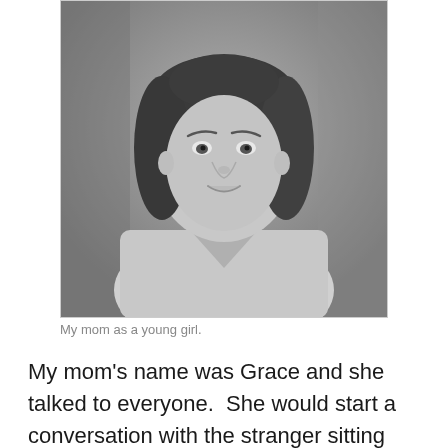[Figure (photo): Black and white portrait photograph of a young woman with dark shoulder-length hair, smiling, wearing a light-colored top with a V-neckline. The photo appears to be a vintage school or formal portrait.]
My mom as a young girl.
My mom's name was Grace and she talked to everyone.  She would start a conversation with the stranger sitting next to her on a